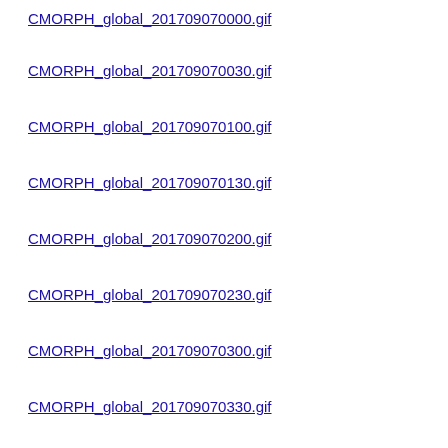CMORPH_global_201709070000.gif  07-Se... 201... 20:1...
CMORPH_global_201709070030.gif  07-Se... 201... 20:1...
CMORPH_global_201709070100.gif  07-Se... 201... 20:1...
CMORPH_global_201709070130.gif  07-Se... 201... 20:1...
CMORPH_global_201709070200.gif  07-Se... 201... 20:1...
CMORPH_global_201709070230.gif  07-Se... 201... 20:1...
CMORPH_global_201709070300.gif  07-Se... 201... 20:1...
CMORPH_global_201709070330.gif  07-Se... 201... 20:1...